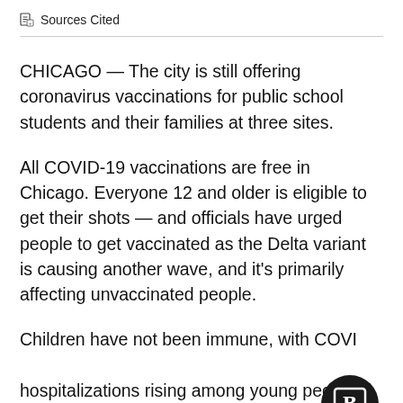Sources Cited
CHICAGO — The city is still offering coronavirus vaccinations for public school students and their families at three sites.
All COVID-19 vaccinations are free in Chicago. Everyone 12 and older is eligible to get their shots — and officials have urged people to get vaccinated as the Delta variant is causing another wave, and it's primarily affecting unvaccinated people.
Children have not been immune, with COVID hospitalizations rising among young people, Dr.